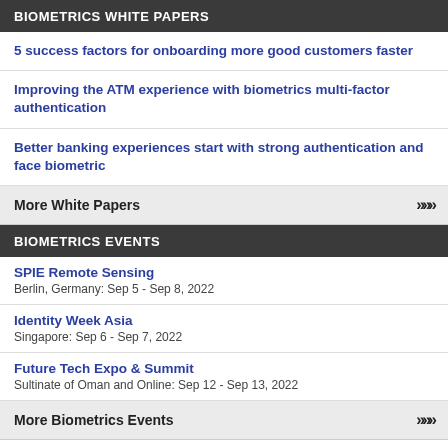BIOMETRICS WHITE PAPERS
5 success factors for onboarding more good customers faster
Improving the ATM experience with biometrics multi-factor authentication
Better banking experiences start with strong authentication and face biometric
More White Papers >>>
BIOMETRICS EVENTS
SPIE Remote Sensing
Berlin, Germany: Sep 5 - Sep 8, 2022
Identity Week Asia
Singapore: Sep 6 - Sep 7, 2022
Future Tech Expo & Summit
Sultinate of Oman and Online: Sep 12 - Sep 13, 2022
More Biometrics Events >>>